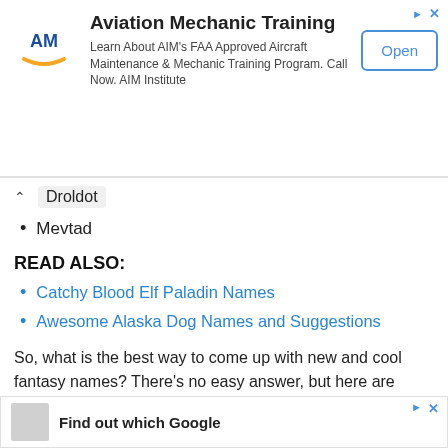[Figure (screenshot): Advertisement banner for Aviation Mechanic Training by AIM Institute with logo, description text, and Open button]
Droldot
Mevtad
READ ALSO:
Catchy Blood Elf Paladin Names
Awesome Alaska Dog Names and Suggestions
So, what is the best way to come up with new and cool fantasy names? There’s no easy answer, but here are some things to consider.
[Figure (screenshot): Second advertisement banner showing 'Find out which Google' text with logo image]